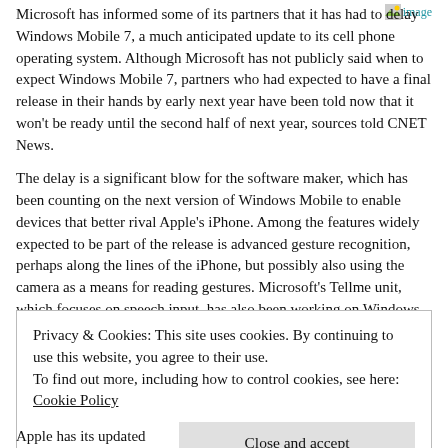Microsoft has informed some of its partners that it has had to delay Windows Mobile 7, a much anticipated update to its cell phone operating system. Although Microsoft has not publicly said when to expect Windows Mobile 7, partners who had expected to have a final release in their hands by early next year have been told now that it won't be ready until the second half of next year, sources told CNET News.
The delay is a significant blow for the software maker, which has been counting on the next version of Windows Mobile to enable devices that better rival Apple's iPhone. Among the features widely expected to be part of the release is advanced gesture recognition, perhaps along the lines of the iPhone, but possibly also using the camera as a means for reading gestures. Microsoft's Tellme unit, which focuses on speech input, has also been working on Windows Mobile 7 features.
Privacy & Cookies: This site uses cookies. By continuing to use this website, you agree to their use.
To find out more, including how to control cookies, see here: Cookie Policy
Close and accept
Apple has its updated